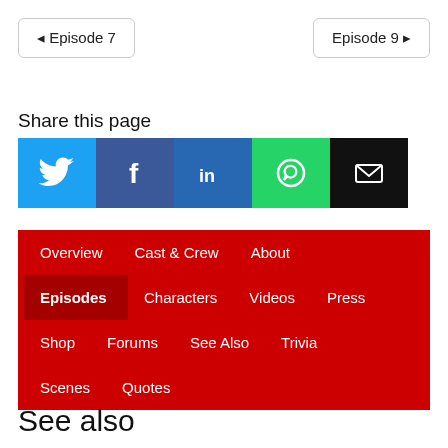◄ Episode 7
Episode 9 ►
Share this page
[Figure (infographic): Social share buttons: Twitter (blue bird), Facebook (blue f), LinkedIn (blue in), WhatsApp (green phone), Email (black envelope)]
Overview
Cast & Crew
About
Episodes (active/bold)
Characters
Videos
Press
Shop
Forums
See Also
Trivia
Scenes
Quotes
See also